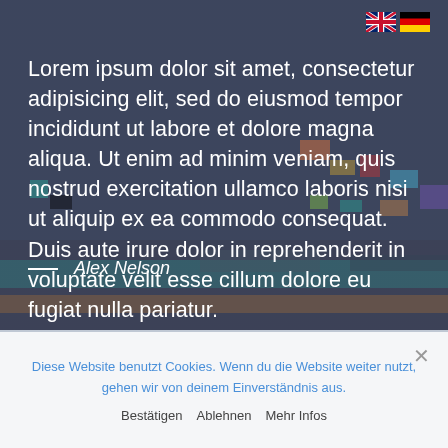[Figure (photo): Dark blurred mosaic/pixel-art background photograph of colorful blocks or shelves behind semi-transparent overlay]
Lorem ipsum dolor sit amet, consectetur adipisicing elit, sed do eiusmod tempor incididunt ut labore et dolore magna aliqua. Ut enim ad minim veniam, quis nostrud exercitation ullamco laboris nisi ut aliquip ex ea commodo consequat. Duis aute irure dolor in reprehenderit in voluptate velit esse cillum dolore eu fugiat nulla pariatur.
— Alex Nelson
Diese Website benutzt Cookies. Wenn du die Website weiter nutzt, gehen wir von deinem Einverständnis aus.
Bestätigen  Ablehnen  Mehr Infos